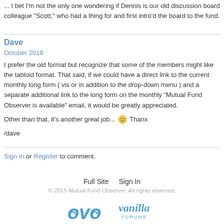... I bet I'm not the only one wondering if Dennis is our old discussion board colleague "Scott," who had a thing for and first intro'd the board to the fund.
Dave
October 2016
I prefer the old format but recognize that some of the members might like the tabloid format. That said, if we could have a direct link to the current monthly long form ( vis or in addition to the drop-down menu ) and a separate additional link to the long form on the monthly "Mutual Fund Observer is available" email, it would be greatly appreciated.

Other than that, it's another great job... 🙂 Thanx

/dave
Sign In or Register to comment.
Full Site   Sign In
© 2015 Mutual Fund Observer. All rights reserved.